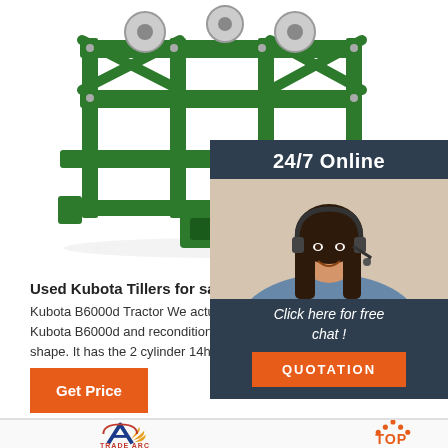[Figure (photo): Green Kubota tiller/cultivator agricultural equipment viewed from front-top angle on white background]
[Figure (photo): 24/7 Online chat widget with woman wearing headset smiling, dark navy background with orange QUOTATION button and 'Click here for free chat!' text]
Used Kubota Tillers for sale. Kubota equipment
Kubota B6000d Tractor We actually bought this 4 w Kubota B6000d and reconditioned it for you becaus shape. It has the 2 cylinder 14hp diesel engine and
Get Price
[Figure (logo): Trade Arc logo with stylized letter A and wheat/grain graphic, orange and blue colors]
[Figure (logo): TOP logo with orange dots arranged in triangle above the word TOP in orange]
[Figure (photo): Red agricultural equipment partial view at bottom right of card]